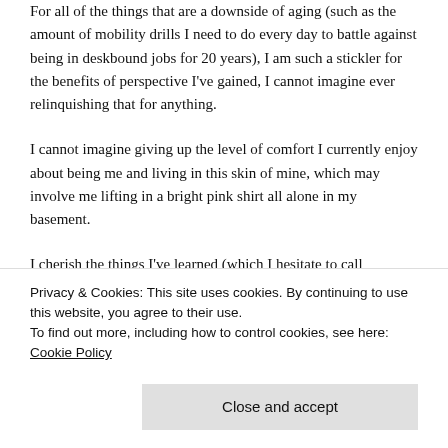For all of the things that are a downside of aging (such as the amount of mobility drills I need to do every day to battle against being in deskbound jobs for 20 years), I am such a stickler for the benefits of perspective I've gained, I cannot imagine ever relinquishing that for anything.
I cannot imagine giving up the level of comfort I currently enjoy about being me and living in this skin of mine, which may involve me lifting in a bright pink shirt all alone in my basement.
I cherish the things I've learned (which I hesitate to call
Privacy & Cookies: This site uses cookies. By continuing to use this website, you agree to their use.
To find out more, including how to control cookies, see here: Cookie Policy
Close and accept